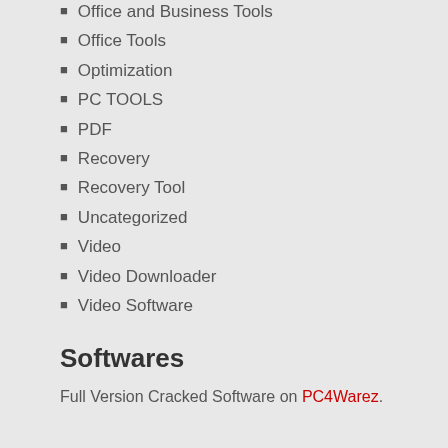Office and Business Tools
Office Tools
Optimization
PC TOOLS
PDF
Recovery
Recovery Tool
Uncategorized
Video
Video Downloader
Video Software
Softwares
Full Version Cracked Software on PC4Warez.